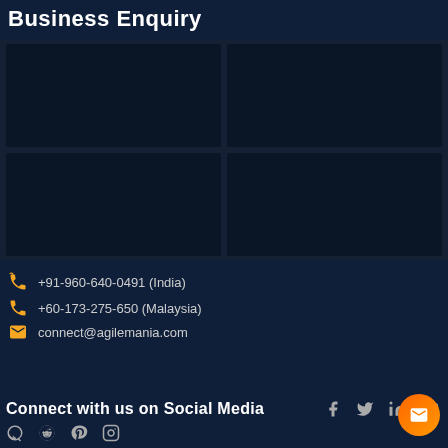Business Enquiry
[Figure (other): 2x2 grid of dark input form fields for business enquiry]
+91-960-640-0491 (India)
+60-173-275-650 (Malaysia)
connect@agilemania.com
Connect with us on Social Media
[Figure (other): Social media icons: Facebook, Twitter, LinkedIn, YouTube, Quora, Reddit, Pinterest, Instagram]